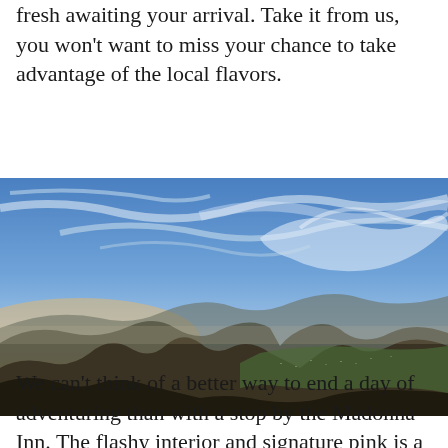fresh awaiting your arrival. Take it from us, you won't want to miss your chance to take advantage of the local flavors.
[Figure (photo): Aerial landscape photograph of mountains at sunset with wispy clouds in a blue sky, a town visible in the valley below, and warm orange/yellow light on the horizon.]
We can't think of a better way to end a day of adventuring than with a stop by the Madonna Inn. The flashy interior and signature pink is a sight worth see-